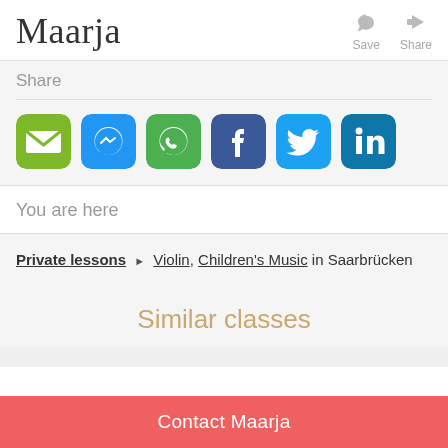Maarja
Save Share
Share
[Figure (infographic): Row of six social media sharing icons: Email (green), Messenger (blue), WhatsApp (green), Facebook (dark blue), Twitter (light blue), LinkedIn (blue)]
You are here
Private lessons ▶ Violin, Children's Music in Saarbrücken
Similar classes
Contact Maarja